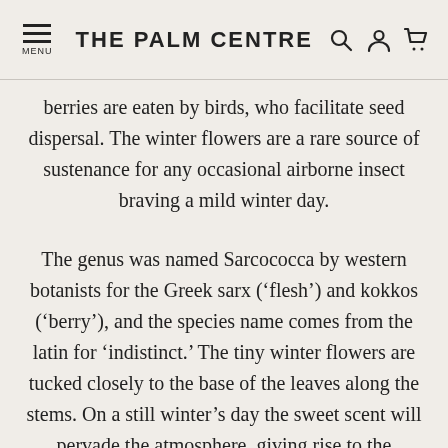MENU THE PALM CENTRE
berries are eaten by birds, who facilitate seed dispersal. The winter flowers are a rare source of sustenance for any occasional airborne insect braving a mild winter day.
The genus was named Sarcococca by western botanists for the Greek sarx (‘flesh’) and kokkos (‘berry’), and the species name comes from the latin for ‘indistinct.’ The tiny winter flowers are tucked closely to the base of the leaves along the stems. On a still winter’s day the sweet scent will pervade the atmosphere, giving rise to the common name of